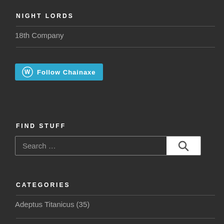NIGHT LORDS
18th Company
[Figure (other): Follow Chainaxe button with WordPress logo]
FIND STUFF
[Figure (other): Search input field with magnifying glass button]
CATEGORIES
Adeptus Titanicus (35)